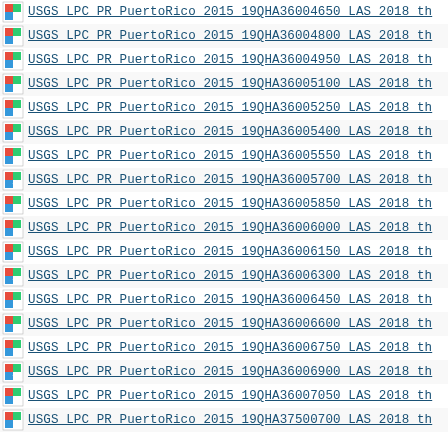USGS LPC PR PuertoRico 2015 19QHA36004650 LAS 2018 th
USGS LPC PR PuertoRico 2015 19QHA36004800 LAS 2018 th
USGS LPC PR PuertoRico 2015 19QHA36004950 LAS 2018 th
USGS LPC PR PuertoRico 2015 19QHA36005100 LAS 2018 th
USGS LPC PR PuertoRico 2015 19QHA36005250 LAS 2018 th
USGS LPC PR PuertoRico 2015 19QHA36005400 LAS 2018 th
USGS LPC PR PuertoRico 2015 19QHA36005550 LAS 2018 th
USGS LPC PR PuertoRico 2015 19QHA36005700 LAS 2018 th
USGS LPC PR PuertoRico 2015 19QHA36005850 LAS 2018 th
USGS LPC PR PuertoRico 2015 19QHA36006000 LAS 2018 th
USGS LPC PR PuertoRico 2015 19QHA36006150 LAS 2018 th
USGS LPC PR PuertoRico 2015 19QHA36006300 LAS 2018 th
USGS LPC PR PuertoRico 2015 19QHA36006450 LAS 2018 th
USGS LPC PR PuertoRico 2015 19QHA36006600 LAS 2018 th
USGS LPC PR PuertoRico 2015 19QHA36006750 LAS 2018 th
USGS LPC PR PuertoRico 2015 19QHA36006900 LAS 2018 th
USGS LPC PR PuertoRico 2015 19QHA36007050 LAS 2018 th
USGS LPC PR PuertoRico 2015 19QHA37500700 LAS 2018 th